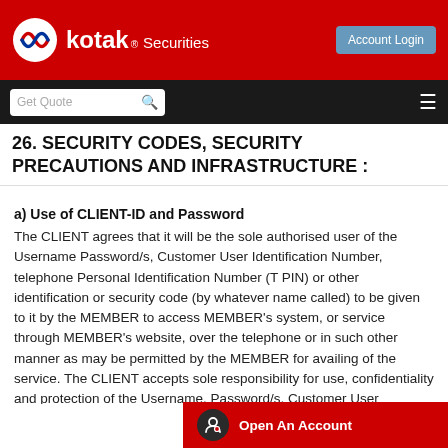kotak® Securities — Account Login
26. SECURITY CODES, SECURITY PRECAUTIONS AND INFRASTRUCTURE :
a) Use of CLIENT-ID and Password
The CLIENT agrees that it will be the sole authorised user of the Username Password/s, Customer User Identification Number, telephone Personal Identification Number (T PIN) or other identification or security code (by whatever name called) to be given to it by the MEMBER to access MEMBER's system, or service through MEMBER's website, over the telephone or in such other manner as may be permitted by the MEMBER for availing of the service. The CLIENT accepts sole responsibility for use, confidentiality and protection of the Username, Password/s, Customer User Identification Number, T-PIN, or other security code issued by the MEMBER to the CLIENT f...